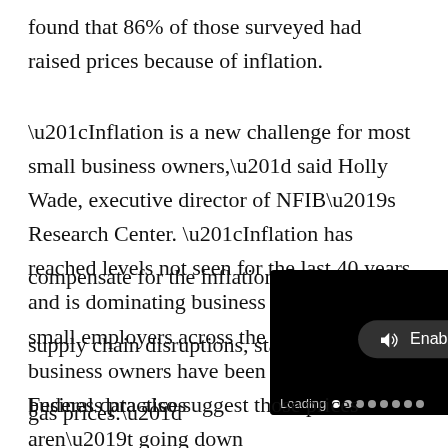found that 86% of those surveyed had raised prices because of inflation.
“Inflation is a new challenge for most small business owners,” said Holly Wade, executive director of NFIB’s Research Center. “Inflation has reached levels not seen for the last 40 years and is dominating business decisions for small employers across the country. Small business owners have been adjusting business practices to compensate for the inflation pressures including supply chain disruptions, staffing challenges, and gas prices.”
[Figure (screenshot): Video player overlay showing '11 seconds...' timer, an Enable button with speaker icon, and a loading indicator at the bottom on a black background.]
Federal data also suggest those prices aren’t going down